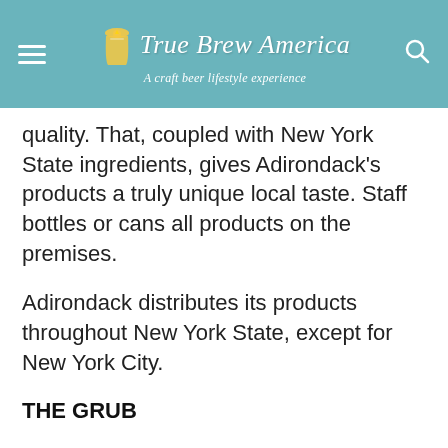True Brew America — A craft beer lifestyle experience
quality. That, coupled with New York State ingredients, gives Adirondack’s products a truly unique local taste. Staff bottles or cans all products on the premises.
Adirondack distributes its products throughout New York State, except for New York City.
THE GRUB
From the start, Carr designed the establishment to be a social experience, pairing great craft beer with food. Although “pub” is in its name, and there certainly are pub food-type offerings on the menu, such as